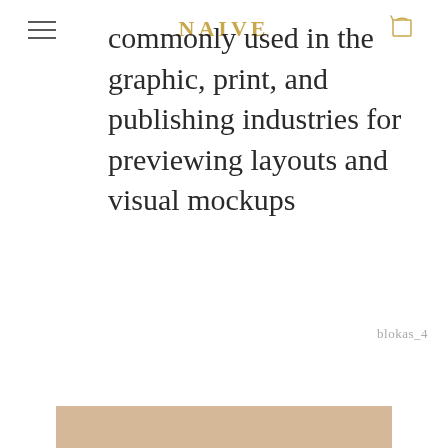NAIVE (logo/brand)
commonly used in the graphic, print, and publishing industries for previewing layouts and visual mockups
blokas_4
[Figure (other): Beige/tan colored rectangular strip at the bottom of the page]